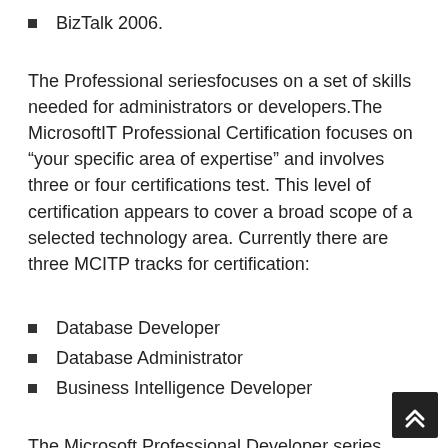BizTalk 2006.
The Professional seriesfocuses on a set of skills needed for administrators or developers.The MicrosoftIT Professional Certification focuses on “your specific area of expertise” and involves three or four certifications test. This level of certification appears to cover a broad scope of a selected technology area. Currently there are three MCITP tracks for certification:
Database Developer
Database Administrator
Business Intelligence Developer
The Microsoft Professional Developer series focuses on Web, Windows and Enterprise application development. This side of the